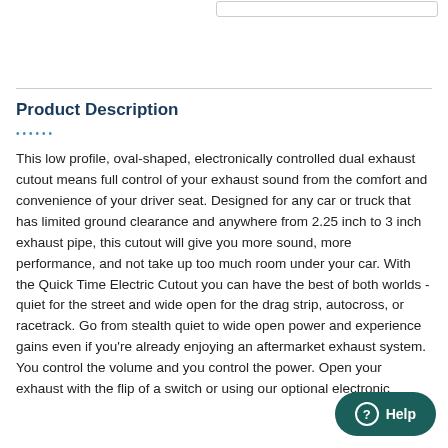Product Description
This low profile, oval-shaped, electronically controlled dual exhaust cutout means full control of your exhaust sound from the comfort and convenience of your driver seat. Designed for any car or truck that has limited ground clearance and anywhere from 2.25 inch to 3 inch exhaust pipe, this cutout will give you more sound, more performance, and not take up too much room under your car. With the Quick Time Electric Cutout you can have the best of both worlds - quiet for the street and wide open for the drag strip, autocross, or racetrack. Go from stealth quiet to wide open power and experience gains even if you're already enjoying an aftermarket exhaust system. You control the volume and you control the power. Open your exhaust with the flip of a switch or using our optional electronic